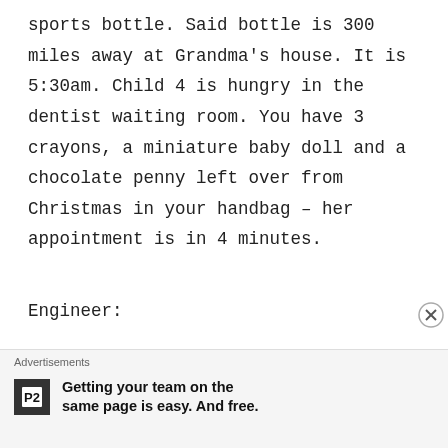sports bottle. Said bottle is 300 miles away at Grandma's house. It is 5:30am. Child 4 is hungry in the dentist waiting room. You have 3 crayons, a miniature baby doll and a chocolate penny left over from Christmas in your handbag – her appointment is in 4 minutes.
Engineer:
If you've ever put together lego or successfully transformed a Transformer in
[Figure (other): Advertisement bar at bottom: 'Advertisements' label, P2 logo icon, text 'Getting your team on the same page is easy. And free.']